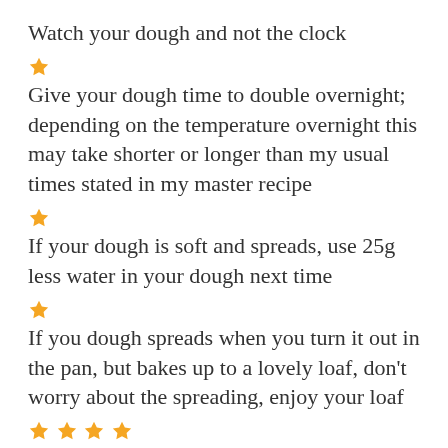Watch your dough and not the clock
★
Give your dough time to double overnight; depending on the temperature overnight this may take shorter or longer than my usual times stated in my master recipe
★
If your dough is soft and spreads, use 25g less water in your dough next time
★
If you dough spreads when you turn it out in the pan, but bakes up to a lovely loaf, don't worry about the spreading, enjoy your loaf
★★★★
Always my biggest and most important tip:
★★★★
If it tastes good IT IS GOOD!
★★★★
Don't focus on looks and holes and scoring, they